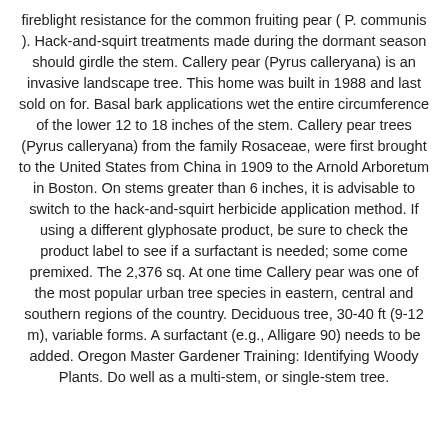fireblight resistance for the common fruiting pear ( P. communis ). Hack-and-squirt treatments made during the dormant season should girdle the stem. Callery pear (Pyrus calleryana) is an invasive landscape tree. This home was built in 1988 and last sold on for. Basal bark applications wet the entire circumference of the lower 12 to 18 inches of the stem. Callery pear trees (Pyrus calleryana) from the family Rosaceae, were first brought to the United States from China in 1909 to the Arnold Arboretum in Boston. On stems greater than 6 inches, it is advisable to switch to the hack-and-squirt herbicide application method. If using a different glyphosate product, be sure to check the product label to see if a surfactant is needed; some come premixed. The 2,376 sq. At one time Callery pear was one of the most popular urban tree species in eastern, central and southern regions of the country. Deciduous tree, 30-40 ft (9-12 m), variable forms. A surfactant (e.g., Alligare 90) needs to be added. Oregon Master Gardener Training: Identifying Woody Plants. Do well as a multi-stem, or single-stem tree.